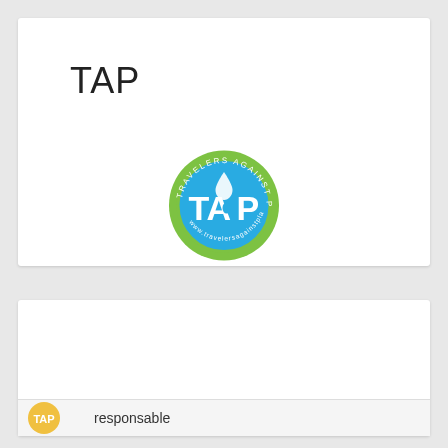TAP
[Figure (logo): Travelers Against Plastic circular logo with TAP text in white on blue background with green border ring]
Privacy & Cookies: This site uses cookies. By continuing to use this website, you agree to their use.
To find out more, including how to control cookies, see here:
Cookie Policy
Close and accept
responsable